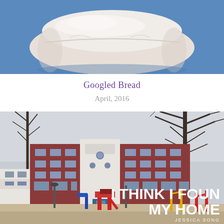[Figure (photo): A white folded bread loaf on a blue background, partially cropped at top]
Googled Bread
April, 2016
[Figure (photo): A red-brick school building with a schoolyard playground featuring colorful play equipment and bare winter trees. Overlaid text reads: I THINK I FOUND MY HOME — JESSICA SONG]